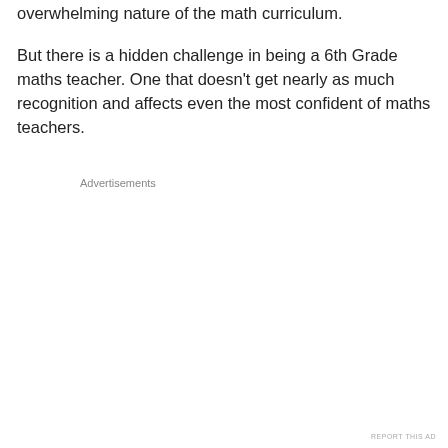overwhelming nature of the math curriculum.
But there is a hidden challenge in being a 6th Grade maths teacher. One that doesn't get nearly as much recognition and affects even the most confident of maths teachers.
Advertisements
REPORT THIS AD